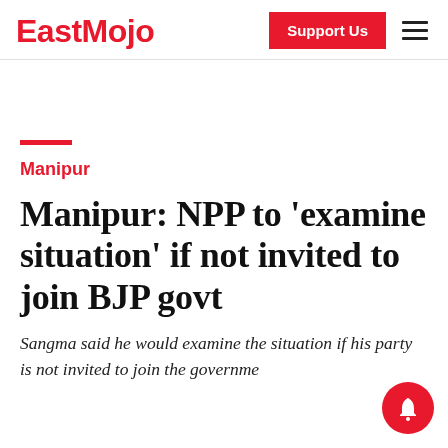EastMojo — Support Us
Manipur
Manipur: NPP to 'examine situation' if not invited to join BJP govt
Sangma said he would examine the situation if his party is not invited to join the government